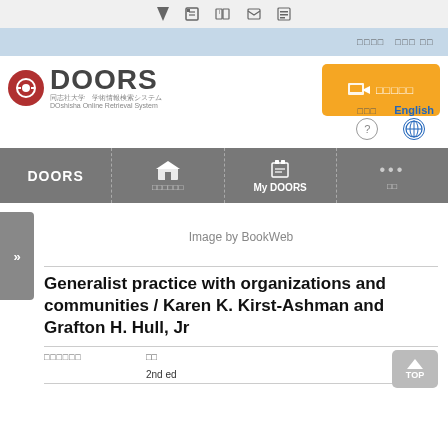DOORS navigation toolbar with icons
[Figure (screenshot): DOORS (DOshisha Online Retrieval System) library portal header with logo, orange login button, language switcher showing Japanese and English options, and navigation bar with DOORS, library, My DOORS, and more options.]
Image by BookWeb
Generalist practice with organizations and communities / Karen K. Kirst-Ashman and Grafton H. Hull, Jr
| 所蔵館情報 | 版 |
| --- | --- |
|  | 2nd ed |